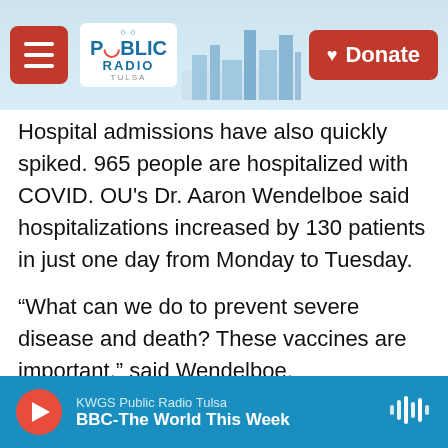Public Radio Tulsa — navigation bar with hamburger menu, logo, and Donate button
Hospital admissions have also quickly spiked. 965 people are hospitalized with COVID. OU's Dr. Aaron Wendelboe said hospitalizations increased by 130 patients in just one day from Monday to Tuesday.
“What can we do to prevent severe disease and death? These vaccines are important,” said Wendelboe.
Despite this, Gov. Kevin Stitt’s office confirmed he still hasn’t gotten a second shot after his Johnson & Johnson vaccine in March.
Dr. Stan Schwartz, Chief Executive Officer at the
KWGS Public Radio Tulsa — BBC-The World This Week